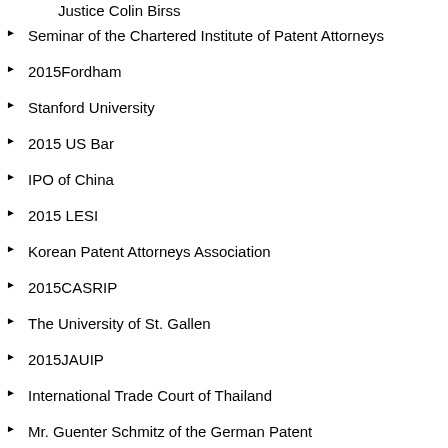Justice Colin Birss
Seminar of the Chartered Institute of Patent Attorneys
2015Fordham
Stanford University
2015 US Bar
IPO of China
2015 LESI
Korean Patent Attorneys Association
2015CASRIP
The University of St. Gallen
2015JAUIP
International Trade Court of Thailand
Mr. Guenter Schmitz of the German Patent
. 2015 Judge from Germany
Participation in the 2015 International IP Court Conference held in Korea
2015IPO
Students from Thailand
Visit by the Director of the Training Department of the Supreme Court